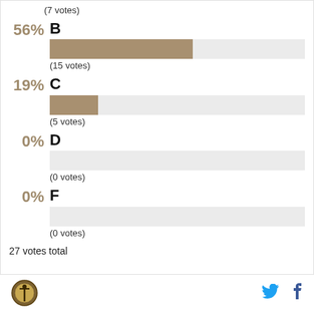(7 votes)
[Figure (bar-chart): Poll results]
27 votes total
[Figure (logo): Circular logo with sword/staff icon]